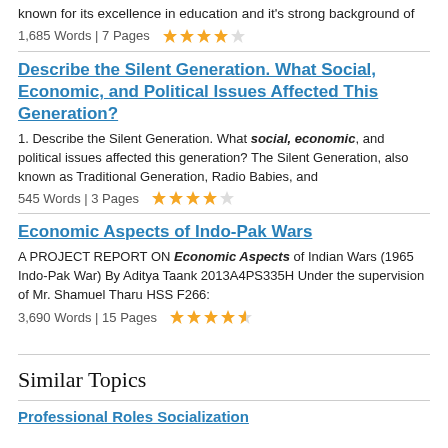known for its excellence in education and it's strong background of
1,685 Words | 7 Pages  ★★★★☆
Describe the Silent Generation. What Social, Economic, and Political Issues Affected This Generation?
1. Describe the Silent Generation. What social, economic, and political issues affected this generation? The Silent Generation, also known as Traditional Generation, Radio Babies, and
545 Words | 3 Pages  ★★★★☆
Economic Aspects of Indo-Pak Wars
A PROJECT REPORT ON Economic Aspects of Indian Wars (1965 Indo-Pak War) By Aditya Taank 2013A4PS335H Under the supervision of Mr. Shamuel Tharu HSS F266:
3,690 Words | 15 Pages  ★★★★½
Similar Topics
Professional Roles Socialization